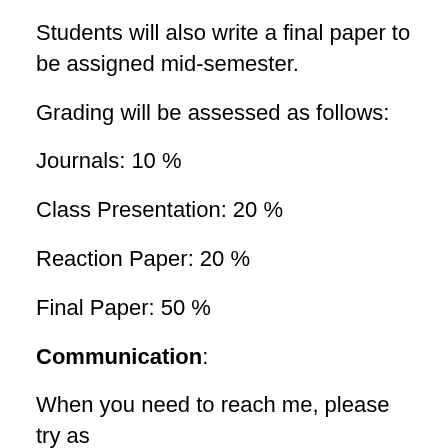Students will also write a final paper to be assigned mid-semester.
Grading will be assessed as follows:
Journals: 10 %
Class Presentation: 20 %
Reaction Paper: 20 %
Final Paper: 50 %
Communication:
When you need to reach me, please try as